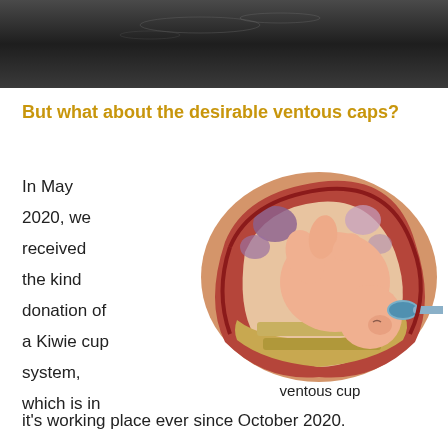[Figure (photo): Dark background image of membrane puncturing forceps with white label text]
membrane puncturing forceps
But what about the desirable ventous caps?
In May 2020, we received the kind donation of a Kiwie cup system, which is in it's working place ever since October 2020.
[Figure (illustration): Medical illustration of a baby in the womb with a ventous cup applied to the head, showing cross-section of uterus]
ventous cup